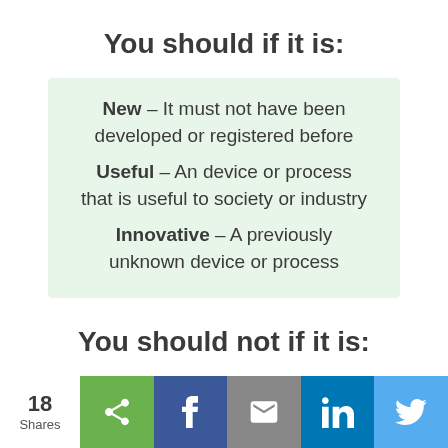You should if it is:
New – It must not have been developed or registered before
Useful – An device or process that is useful to society or industry
Innovative – A previously unknown device or process
You should not if it is:
18 Shares